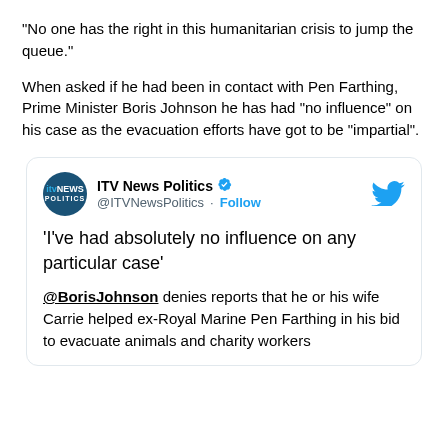"No one has the right in this humanitarian crisis to jump the queue."
When asked if he had been in contact with Pen Farthing, Prime Minister Boris Johnson he has had "no influence" on his case as the evacuation efforts have got to be "impartial".
[Figure (screenshot): Embedded tweet from ITV News Politics (@ITVNewsPolitics) with Follow button and Twitter bird logo. Tweet text: 'I've had absolutely no influence on any particular case' @BorisJohnson denies reports that he or his wife Carrie helped ex-Royal Marine Pen Farthing in his bid to evacuate animals and charity workers]